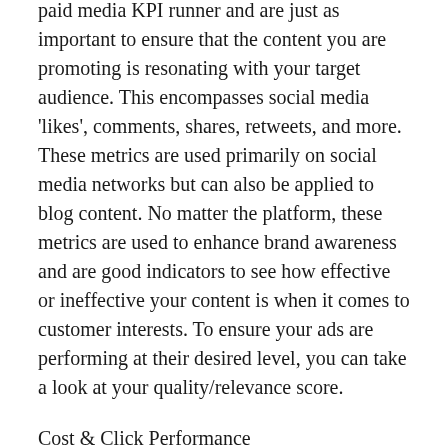paid media KPI runner and are just as important to ensure that the content you are promoting is resonating with your target audience. This encompasses social media 'likes', comments, shares, retweets, and more. These metrics are used primarily on social media networks but can also be applied to blog content. No matter the platform, these metrics are used to enhance brand awareness and are good indicators to see how effective or ineffective your content is when it comes to customer interests. To ensure your ads are performing at their desired level, you can take a look at your quality/relevance score.
Cost & Click Performance
The following metrics are used to define and measure the pricing model of a paid media campaign as well as click-thru performance.